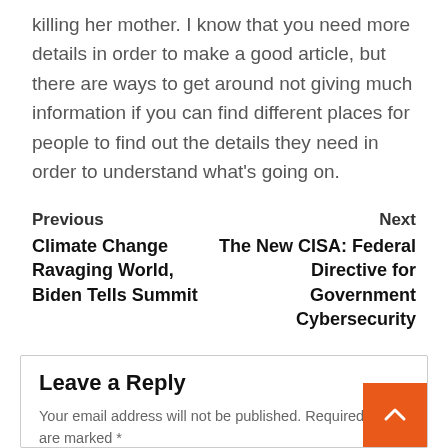killing her mother. I know that you need more details in order to make a good article, but there are ways to get around not giving much information if you can find different places for people to find out the details they need in order to understand what's going on.
Previous
Climate Change Ravaging World, Biden Tells Summit
Next
The New CISA: Federal Directive for Government Cybersecurity
Leave a Reply
Your email address will not be published. Required fields are marked *
Comment *